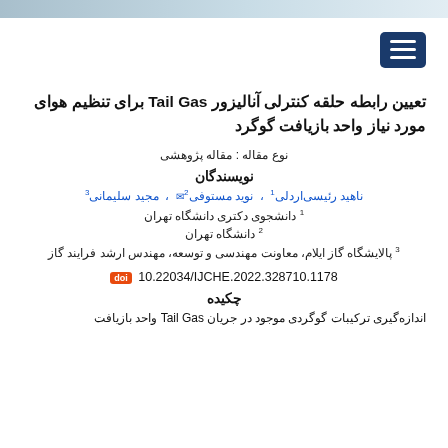تعیین رابطه حلقه کنترلی آنالیزور Tail Gas برای تنظیم هوای مورد نیاز واحد بازیافت گوگرد
نوع مقاله : مقاله پژوهشی
نویسندگان
ناهید رئیسی اردلی¹ ، نوید مستوفی²✉ ، مجید سلیمانی³
¹ دانشجوی دکتری دانشگاه تهران
² دانشگاه تهران
³ پالایشگاه گاز ایلام، معاونت مهندسی و توسعه، مهندس ارشد فرایند گاز
doi 10.22034/IJCHE.2022.328710.1178
چکیده
اندازه‌گیری ترکیبات گوگردی موجود در جریان Tail Gas واحد بازیافت